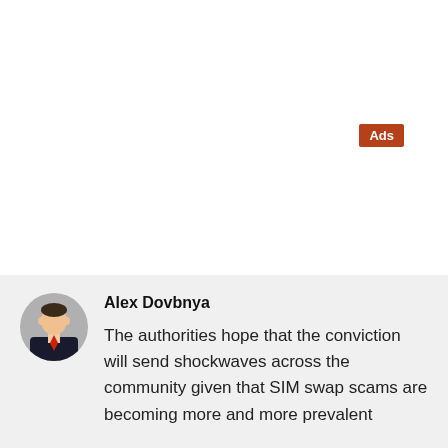Ads
Alex Dovbnya
The authorities hope that the conviction will send shockwaves across the community given that SIM swap scams are becoming more and more prevalent